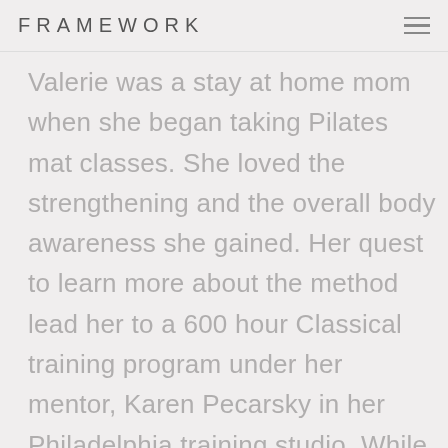FRAMEWORK
Valerie was a stay at home mom when she began taking Pilates mat classes. She loved the strengthening and the overall body awareness she gained. Her quest to learn more about the method lead her to a 600 hour Classical training program under her mentor, Karen Pecarsky in her Philadelphia training studio. While she trained as an apprentice in this energetic environment, she worked as a receptionist, taught mat